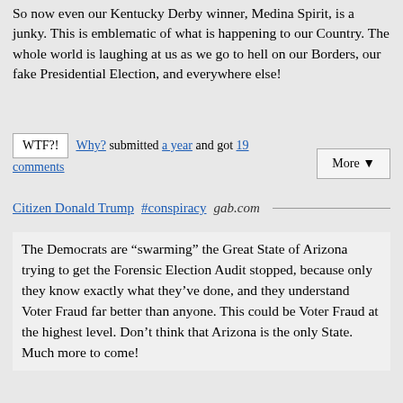So now even our Kentucky Derby winner, Medina Spirit, is a junky. This is emblematic of what is happening to our Country. The whole world is laughing at us as we go to hell on our Borders, our fake Presidential Election, and everywhere else!
WTF?! Why? submitted a year and got 19 comments More ▼
Citizen Donald Trump #conspiracy gab.com
The Democrats are “swarming” the Great State of Arizona trying to get the Forensic Election Audit stopped, because only they know exactly what they’ve done, and they understand Voter Fraud far better than anyone. This could be Voter Fraud at the highest level. Don’t think that Arizona is the only State. Much more to come!